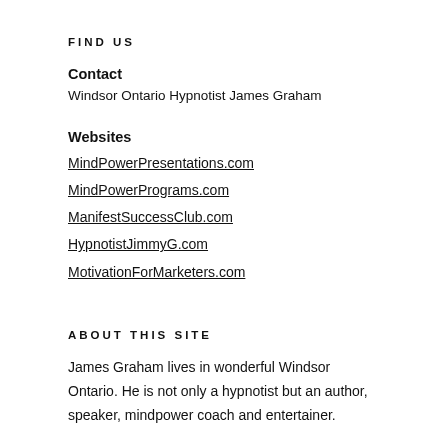FIND US
Contact
Windsor Ontario Hypnotist James Graham
Websites
MindPowerPresentations.com
MindPowerPrograms.com ManifestSuccessClub.com
HypnotistJimmyG.com MotivationForMarketers.com
ABOUT THIS SITE
James Graham lives in wonderful Windsor Ontario. He is not only a hypnotist but an author, speaker, mindpower coach and entertainer.